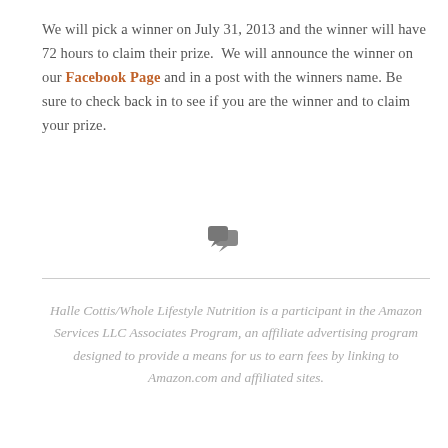We will pick a winner on July 31, 2013 and the winner will have 72 hours to claim their prize. We will announce the winner on our Facebook Page and in a post with the winners name. Be sure to check back in to see if you are the winner and to claim your prize.
[Figure (illustration): Two overlapping speech bubble / comment icons in dark gray]
Halle Cottis/Whole Lifestyle Nutrition is a participant in the Amazon Services LLC Associates Program, an affiliate advertising program designed to provide a means for us to earn fees by linking to Amazon.com and affiliated sites.